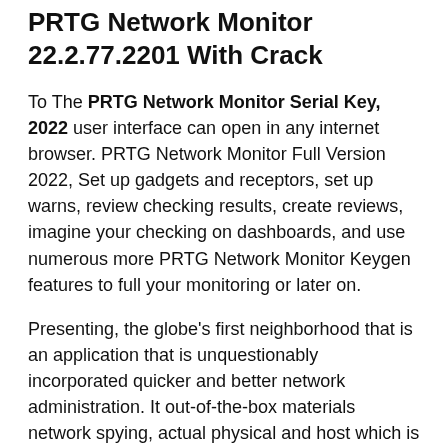PRTG Network Monitor 22.2.77.2201 With Crack
To The PRTG Network Monitor Serial Key, 2022 user interface can open in any internet browser. PRTG Network Monitor Full Version 2022, Set up gadgets and receptors, set up warns, review checking results, create reviews, imagine your checking on dashboards, and use numerous more PRTG Network Monitor Keygen features to full your monitoring or later on.
Presenting, the globe’s first neighborhood that is an application that is unquestionably incorporated quicker and better network administration. It out-of-the-box materials network spying, actual physical and host which is digital, flow-based data transfer utilization